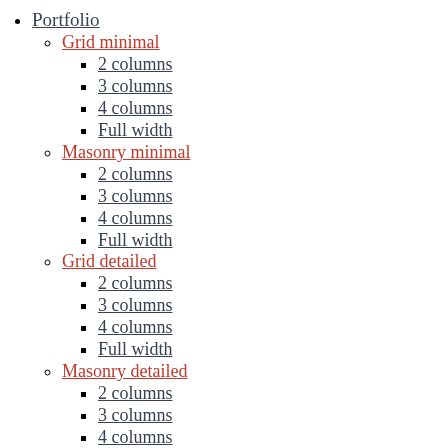Portfolio
Grid minimal
2 columns
3 columns
4 columns
Full width
Masonry minimal
2 columns
3 columns
4 columns
Full width
Grid detailed
2 columns
3 columns
4 columns
Full width
Masonry detailed
2 columns
3 columns
4 columns
Full width
Single projects
Slider Project
Masonry Project
Image List Project